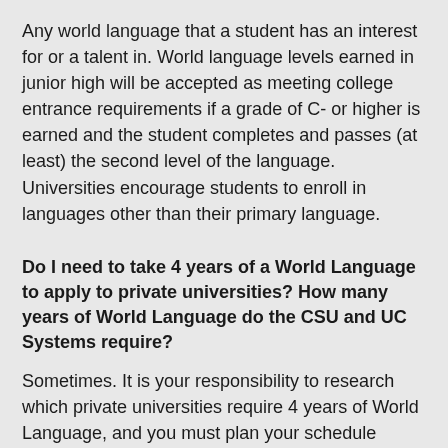Any world language that a student has an interest for or a talent in.  World language levels earned in junior high will be accepted as meeting college entrance requirements if a grade of C- or higher is earned and the student completes and passes (at least) the second level of the language.   Universities encourage students to enroll in languages other than their primary language.
Do I need to take 4 years of a World Language to apply to private universities? How many years of World Language do the CSU and UC Systems require?
Sometimes. It is your responsibility to research which private universities require 4 years of World Language, and you must plan your schedule accordingly. The University of California only requires